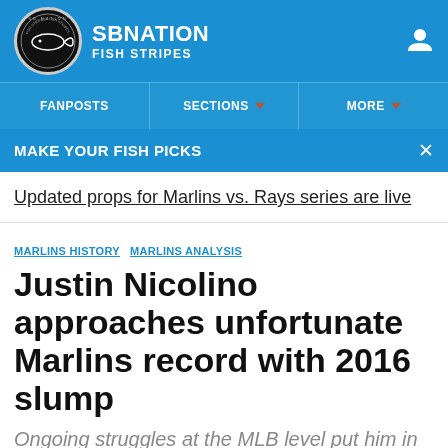SB NATION / FISH STRIPES
FANPOSTS | SECTIONS | MORE
MAKE YOUR FISH PICKS
Updated props for Marlins vs. Rays series are live
MARLINS HISTORY  MARLINS ANALYSIS
Justin Nicolino approaches unfortunate Marlins record with 2016 slump
Ongoing struggles at the MLB level put him in